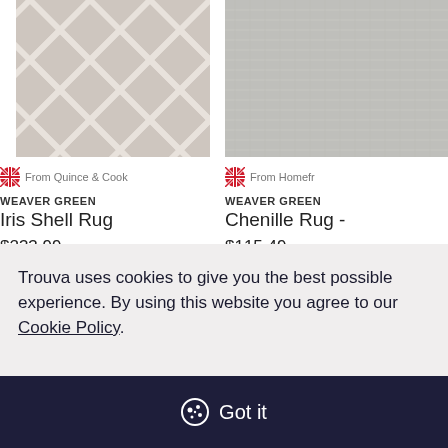[Figure (photo): Close-up of a beige/grey geometric diamond-pattern rug (Iris Shell Rug by Weaver Green)]
[Figure (photo): Partial view of a grey textured chenille rug by Weaver Green]
From Quince & Cook
WEAVER GREEN
Iris Shell Rug
$233.99
From Homefr
WEAVER GREEN
Chenille Rug -
$115.49
Star Curator
Trouva uses cookies to give you the best possible experience. By using this website you agree to our Cookie Policy.
Got it